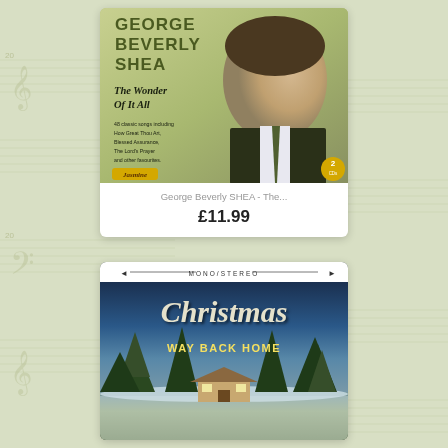[Figure (photo): Album cover for George Beverly Shea - The Wonder Of It All. Shows a man in a suit with the Jasmine label logo and a 2CD badge. Text reads: 48 classic songs including How Great Thou Art, Blessed Assurance, The Lord's Prayer and other favourites.]
George Beverly SHEA - The...
£11.99
[Figure (photo): Album cover for Christmas Way Back Home. Shows a snowy winter scene with trees and a house. MONO/STEREO banner at top. Christmas script lettering and WAY BACK HOME subtitle.]